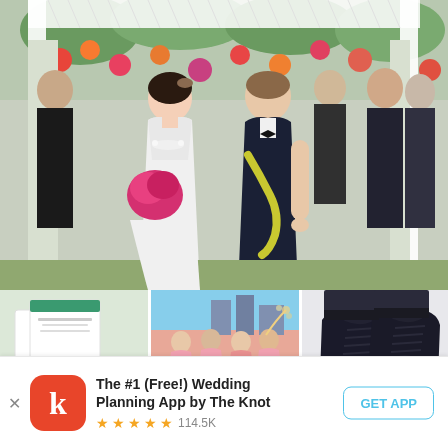[Figure (photo): Wedding photo of a bride in white dress holding pink bouquet and groom in black tuxedo with yellow floral lei, standing under a white decorative arch with colorful floral backdrop]
[Figure (photo): Three smaller wedding photos side by side: left shows wedding stationery/invitations with green accents and rings, center shows bridesmaids in pink dresses on a balcony, right shows polished black dress shoes from above]
The #1 (Free!) Wedding Planning App by The Knot
★★★★★ 114.5K
GET APP